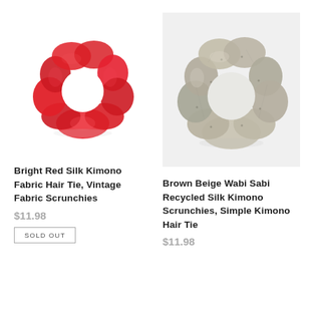[Figure (photo): Red silk scrunchie/hair tie on white background]
Bright Red Silk Kimono Fabric Hair Tie, Vintage Fabric Scrunchies
$11.98
SOLD OUT
[Figure (photo): Brown beige patterned wabi sabi recycled silk kimono scrunchie on light grey background]
Brown Beige Wabi Sabi Recycled Silk Kimono Scrunchies, Simple Kimono Hair Tie
$11.98